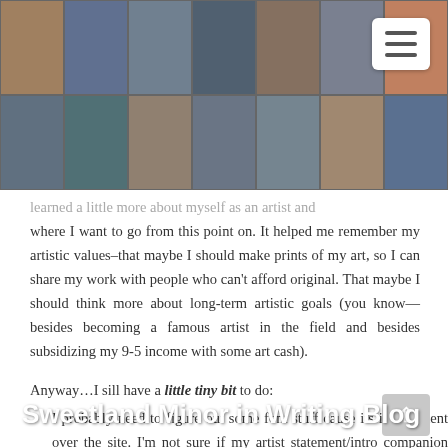[Figure (photo): Collage of various photos forming the header background of the blog]
Sweetland Minor in Writing Blog
learned a little more about myself as an artist and where I want to go from this point on. It helped me remember my artistic values–that maybe I should make prints of my art, so I can share my work with people who can't afford original. That maybe I should think more about long-term artistic goals (you know—besides becoming a famous artist in the field and besides subsidizing my 9-5 income with some art cash).
Anyway…I sill have a little tiny bit to do:
I probably need to figure out some font stuff cause its inconsistent over the site. I'm not sure if my artist statement/intro companion essay still needs some work or if it's done. My photo gallery for